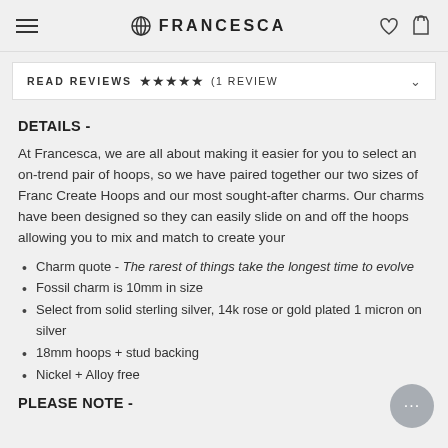FRANCESCA
READ REVIEWS ★★★★★ (1 REVIEW)
DETAILS -
At Francesca, we are all about making it easier for you to select an on-trend pair of hoops, so we have paired together our two sizes of Franc Create Hoops and our most sought-after charms. Our charms have been designed so they can easily slide on and off the hoops allowing you to mix and match to create your
Charm quote - The rarest of things take the longest time to evolve
Fossil charm is 10mm in size
Select from solid sterling silver, 14k rose or gold plated 1 micron on silver
18mm hoops + stud backing
Nickel + Alloy free
PLEASE NOTE -